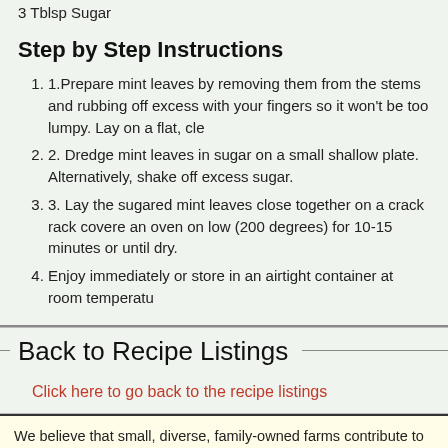3 Tblsp Sugar
Step by Step Instructions
1.Prepare mint leaves by removing them from the stems and rubbing off excess with your fingers so it won't be too lumpy. Lay on a flat, cle...
2. Dredge mint leaves in sugar on a small shallow plate. Alternatively, shake off excess sugar.
3. Lay the sugared mint leaves close together on a crack rack covere... an oven on low (200 degrees) for 10-15 minutes or until dry.
4. Enjoy immediately or store in an airtight container at room temperatu...
Back to Recipe Listings
Click here to go back to the recipe listings
We believe that small, diverse, family-owned farms contribute to society's o... food f...
This market is using the Locally Grown online farmers market system. Mor... locallygrown.net/faq. Legal information about...